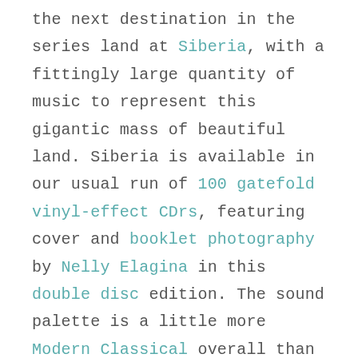the next destination in the series land at Siberia, with a fittingly large quantity of music to represent this gigantic mass of beautiful land. Siberia is available in our usual run of 100 gatefold vinyl-effect CDrs, featuring cover and booklet photography by Nelly Elagina in this double disc edition. The sound palette is a little more Modern Classical overall than the previous excursion (Novaya Zemlya) but there is evidence of electronic and ambient influences in places, with field recordings, drones and added texture.